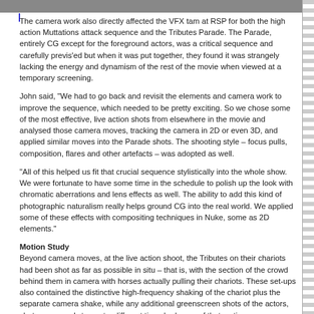The camera work also directly affected the VFX tam at RSP for both the high action Muttations attack sequence and the Tributes Parade. The Parade, entirely CG except for the foreground actors, was a critical sequence and carefully previs'ed but when it was put together, they found it was strangely lacking the energy and dynamism of the rest of the movie when viewed at a temporary screening.
John said, "We had to go back and revisit the elements and camera work to improve the sequence, which needed to be pretty exciting. So we chose some of the most effective, live action shots from elsewhere in the movie and analysed those camera moves, tracking the camera in 2D or even 3D, and applied similar moves into the Parade shots. The shooting style – focus pulls, composition, flares and other artefacts – was adopted as well.
"All of this helped us fit that crucial sequence stylistically into the whole show. We were fortunate to have some time in the schedule to polish up the look with chromatic aberrations and lens effects as well. The ability to add this kind of photographic naturalism really helps ground CG into the real world. We applied some of these effects with compositing techniques in Nuke, some as 2D elements."
Motion Study
Beyond camera moves, at the live action shoot, the Tributes on their chariots had been shot as far as possible in situ – that is, with the section of the crowd behind them in camera with horses actually pulling their chariots. These set-ups also contained the distinctive high-frequency shaking of the chariot plus the separate camera shake, while any additional greenscreen shots of the actors, shot on a sound stage at a different time, had none of that motion.